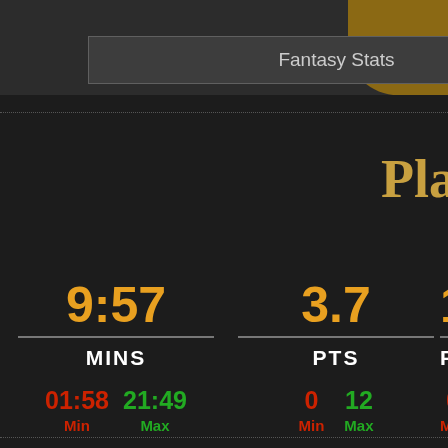Fantasy Stats
Pla
| Stat | Value | Min | Max |
| --- | --- | --- | --- |
| MINS | 9:57 | 01:58 | 21:49 |
| PTS | 3.7 | 0 | 12 |
| REB | 1.x | 0 | x |